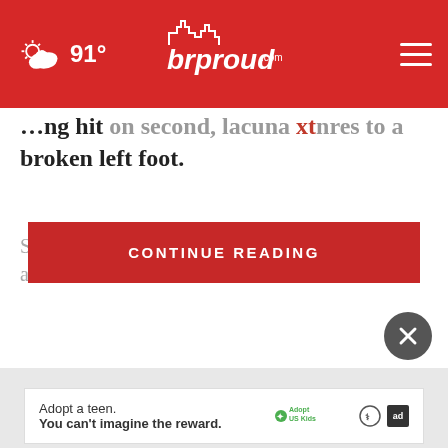brproud.com | 91°
...broken left foot.
Swanson hit on... with five homers and drove in f... nd Adam Duvall
[Figure (screenshot): CONTINUE READING red button overlay]
[Figure (other): Close (X) button, dark circular]
[Figure (other): Advertisement banner: Adopt a teen. You can't imagine the reward. AdoptUSKids ad logo]